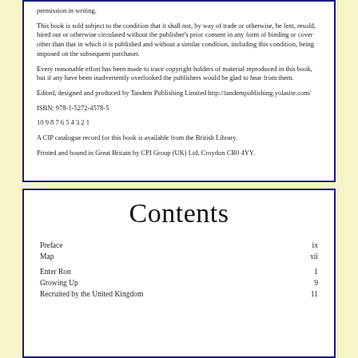This book is sold subject to the condition that it shall not, by way of trade or otherwise, be lent, resold, hired out or otherwise circulated without the publisher's prior consent in any form of binding or cover other than that in which it is published and without a similar condition, including this condition, being imposed on the subsequent purchaser.
Every reasonable effort has been made to trace copyright holders of material reproduced in this book, but if any have been inadvertently overlooked the publishers would be glad to hear from them.
Edited, designed and produced by Tandem Publishing Limited http://tandempublishing.yolasite.com/
ISBN: 978-1-5272-4578-5
10 9 8 7 6 5 4 3 2 1
A CIP catalogue record for this book is available from the British Library.
Printed and bound in Great Britain by CPI Group (UK) Ltd, Croydon CR0 4YY.
Contents
| Entry | Page |
| --- | --- |
| Preface | ix |
| Map | xii |
| Enter Ron | 1 |
| Growing Up | 9 |
| Recruited by the United Kingdom... | 11 |